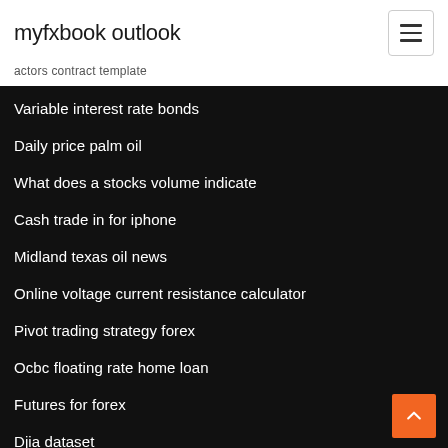myfxbook outlook
actors contract template
Variable interest rate bonds
Daily price palm oil
What does a stocks volume indicate
Cash trade in for iphone
Midland texas oil news
Online voltage current resistance calculator
Pivot trading strategy forex
Ocbc floating rate home loan
Futures for forex
Djia dataset